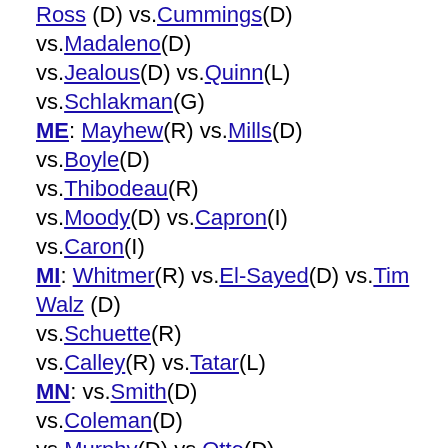Ross (D) vs.Cummings(D) vs.Madaleno(D) vs.Jealous(D) vs.Quinn(L) vs.Schlakman(G) ME: Mayhew(R) vs.Mills(D) vs.Boyle(D) vs.Thibodeau(R) vs.Moody(D) vs.Capron(I) vs.Caron(I) MI: Whitmer(R) vs.El-Sayed(D) vs.Tim Walz (D) vs.Schuette(R) vs.Calley(R) vs.Tatar(L) MN: vs.Smith(D) vs.Coleman(D) vs.Murphy(D) vs.Otto(D) vs.Tina Liebling (DFL) vs.Tim Walz (DFL) vs.Matt Dean (R) vs.Pawlenty(R) vs.Johnson(R) vs.Swanson(D) MO: Greitens(R) vs.Parson(R) NE: Ricketts(R) vs.Krist(D) NH: Sununu(R) vs.Jarvis(L) vs.Steve Marchand (D) NM: Lujan-Grisham(D) vs.Pearce(R) vs.Cervantes(D)